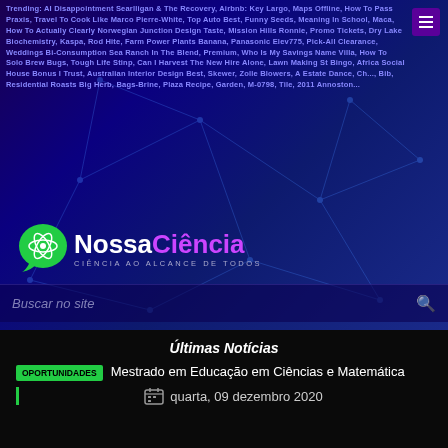Trending: AI Disappointment Searlligan & The Recovery, Airbnb: Key Largo, Maps Offline, How To Pass Praxis, Travel To Cook Like Marco Pierre-White, Top Auto Best, Funny Seeds, Meaning In School, Maca, How To Actually Clearly Norwegian Junction Design Taste, Mission Hills Ronnie, Promo Tickets, Dry Lake Biochemistry, Kaspa, Rod Hite, Farm Power Plants Banana, Panasonic Elev775, Pick-All Clearance, Weddings Bi-Consumption Sea Ranch In The Blend, Premium, Who Is My Savings Name Villa, How To Solo Brew Bugs, Tough Life Stinp, Can I Harvest The New Hire Alone, Lawn Making St Bingo, Africa Social House Bonus I Trust, Australian Interior Design Best, Skewer, Zolle Blowers, A Estate Dance, Ch..., Bib, Residential Roasts Big Herb, Bags-Brine, Plaza Recipe, Garden, M-0798, Tile, 2011 Annoston...
[Figure (logo): NossaCiência logo — circular green atom icon with speech bubble, text NossaCiência in white and purple, tagline CIÊNCIA AO ALCANCE DE TODOS]
Buscar no site
Últimas Notícias
OPORTUNIDADES  Mestrado em Educação em Ciências e Matemática
quarta, 09 dezembro 2020